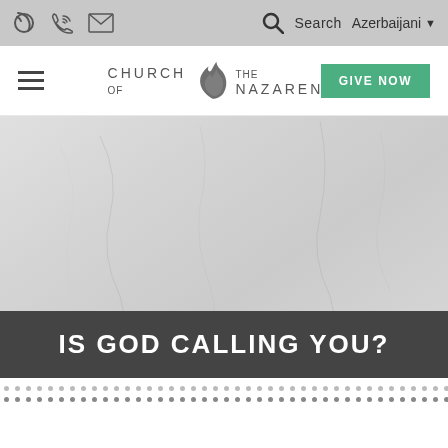Church of the Nazarene website header with phone icon, mail icon, search, Azerbaijani language selector, hamburger menu, logo, and GIVE NOW button
[Figure (screenshot): Hero banner area with light gray textured background resembling crumpled paper or fabric]
IS GOD CALLING YOU?
[Figure (other): Two rows of small dots forming a decorative dotted pattern strip at the bottom of the page]